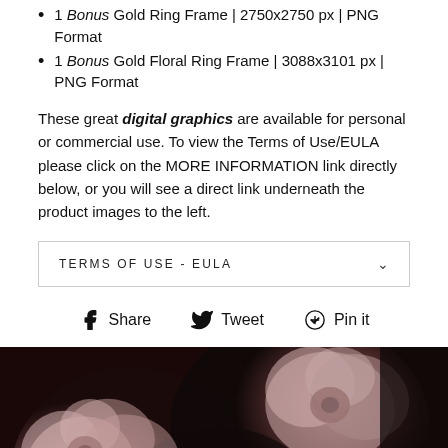1 Bonus Gold Ring Frame | 2750x2750 px | PNG Format
1 Bonus Gold Floral Ring Frame | 3088x3101 px | PNG Format
These great digital graphics are available for personal or commercial use. To view the Terms of Use/EULA please click on the MORE INFORMATION link directly below, or you will see a direct link underneath the product images to the left.
TERMS OF USE - EULA
Share   Tweet   Pin it
[Figure (photo): Dark moody floral photograph featuring pink and dusty rose flowers (roses) against a very dark, almost black background]